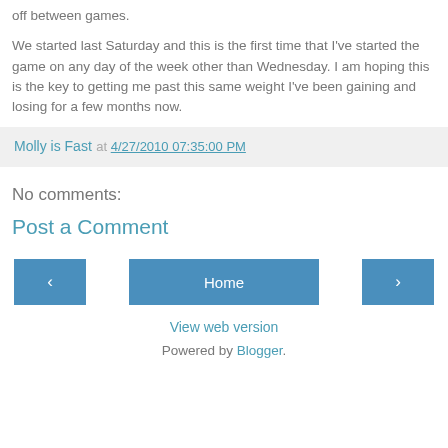off between games.
We started last Saturday and this is the first time that I've started the game on any day of the week other than Wednesday. I am hoping this is the key to getting me past this same weight I've been gaining and losing for a few months now.
Molly is Fast at 4/27/2010 07:35:00 PM
No comments:
Post a Comment
Home
View web version
Powered by Blogger.